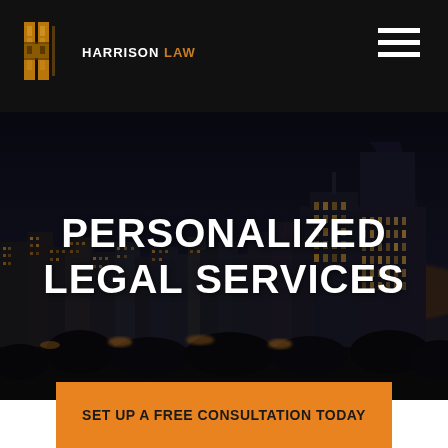HARRISON LAW
[Figure (photo): Night cityscape with illuminated skyscrapers and city lights against a dark sky, serving as a hero background for a law firm website.]
PERSONALIZED LEGAL SERVICES
SET UP A FREE CONSULTATION TODAY